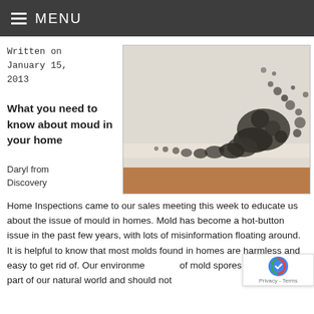MENU
Written on January 15, 2013
What you need to know about moud in your home
Daryl from Discovery
[Figure (photo): Black mold growth spreading across a white wall corner near a baseboard, with a brown floor visible at the bottom.]
Home Inspections came to our sales meeting this week to educate us about the issue of mould in homes. Mold has become a hot-button issue in the past few years, with lots of misinformation floating around.  It is helpful to know that most molds found in homes are harmless and easy to get rid of. Our environment is full of mold spores. They are a part of our natural world and should not